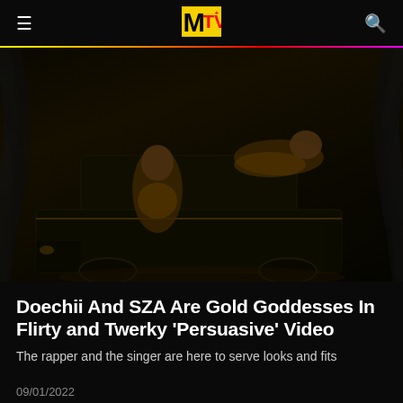MTV (logo)
[Figure (photo): Two women in gold outfits posing on and beside a large dark SUV against a dark background with palm leaf shadows. One woman is seated on the hood, the other is lying on the roof.]
Doechii And SZA Are Gold Goddesses In Flirty and Twerky 'Persuasive' Video
The rapper and the singer are here to serve looks and fits
09/01/2022